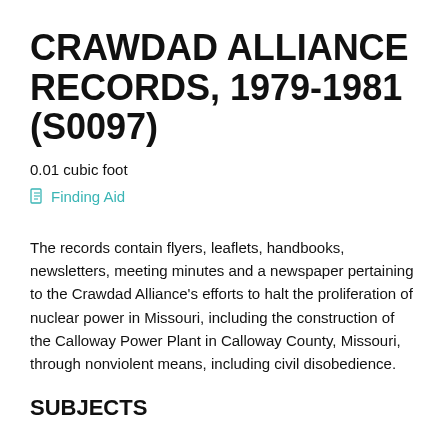CRAWDAD ALLIANCE RECORDS, 1979-1981 (S0097)
0.01 cubic foot
Finding Aid
The records contain flyers, leaflets, handbooks, newsletters, meeting minutes and a newspaper pertaining to the Crawdad Alliance's efforts to halt the proliferation of nuclear power in Missouri, including the construction of the Calloway Power Plant in Calloway County, Missouri, through nonviolent means, including civil disobedience.
SUBJECTS